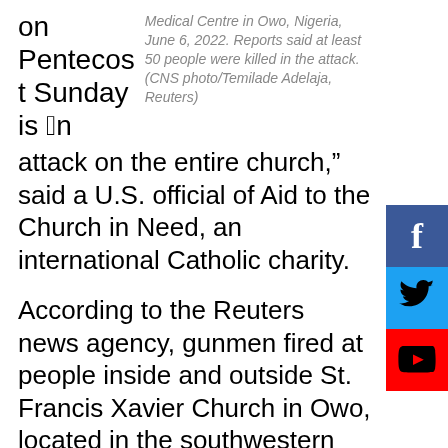on Pentecost Sunday is “an
Medical Centre in Owo, Nigeria, June 6, 2022. Reports said at least 50 people were killed in the attack. (CNS photo/Temilade Adelaja, Reuters)
attack on the entire church,” said a U.S. official of Aid to the Church in Need, an international Catholic charity.
According to the Reuters news agency, gunmen fired at people inside and outside St. Francis Xavier Church in Owo, located in the southwestern state of Ondo. At least 50 people were reportedly killed during Mass June 5. Dozens more were injured and rushed to nearby hospitals.
[Figure (other): Social media share buttons: Facebook (blue), Twitter (light blue), YouTube (red)]